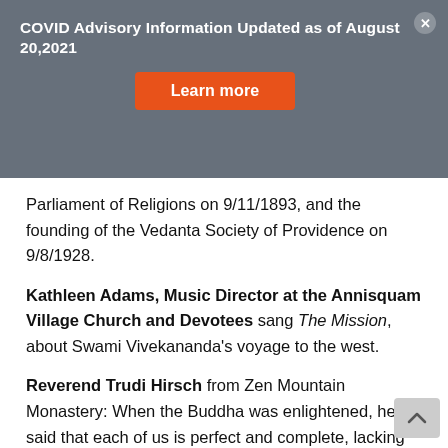COVID Advisory Information Updated as of August 20,2021
Parliament of Religions on 9/11/1893, and the founding of the Vedanta Society of Providence on 9/8/1928.
Kathleen Adams, Music Director at the Annisquam Village Church and Devotees sang The Mission, about Swami Vivekananda's voyage to the west.
Reverend Trudi Hirsch from Zen Mountain Monastery: When the Buddha was enlightened, he said that each of us is perfect and complete, lacking nothing, but we have not yet realized this. The Reverend had an experience at 16 years of age, of dancing effortlessly, after expending great effort. This lifted her spirits, and stayed with her until now. Separation and clinging create suffering. What we hold most dearly needs to go. The